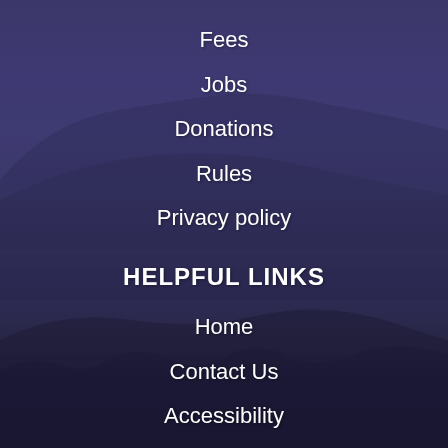Fees
Jobs
Donations
Rules
Privacy policy
HELPFUL LINKS
Home
Contact Us
Accessibility
Site Map
Copyright Notices